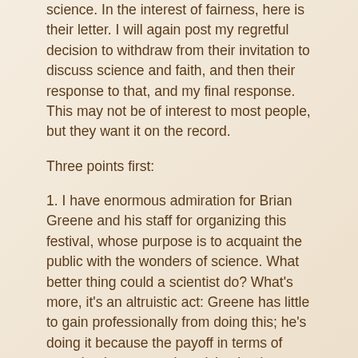science.  In the interest of fairness, here is their letter.  I will again post my regretful decision to withdraw from their invitation to discuss science and faith, and then their response to that, and my final response.  This may not be of interest to most people, but they want it on the record.
Three points first:
1.  I have enormous admiration for Brian Greene and his staff for organizing this festival, whose purpose is to acquaint the public with the wonders of science.  What better thing could a scientist do?  What's more, it's an altruistic act: Greene has little to gain professionally from doing this; he's doing it because the payoff in terms of arousing interest and participation in science is potentially enormous.   My only beef about the Festival is that they insist on dragging religion into it, and to imply on their website that faith and science can be reconciled.  I just couldn't be part of that endeavor.
2.  I still cannot understand what these “conversations” about faith and science are supposed to accomplish.  Surely religious